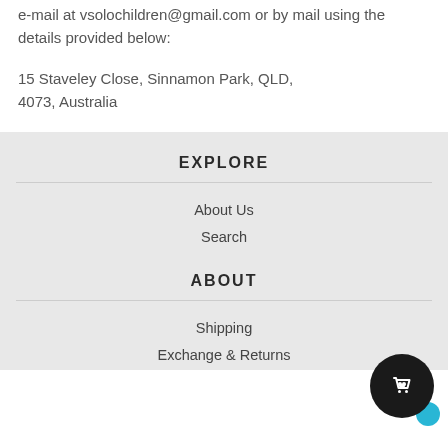e-mail at vsolochildren@gmail.com or by mail using the details provided below:
15 Staveley Close, Sinnamon Park, QLD, 4073, Australia
EXPLORE
About Us
Search
ABOUT
Shipping
Exchange & Returns